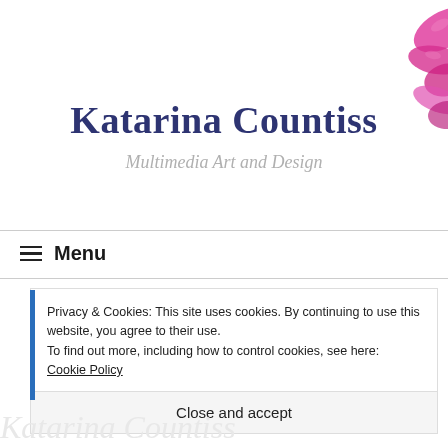[Figure (illustration): Pink flower/orchid decoration in the top-right corner, partially cropped]
Katarina Countiss
Multimedia Art and Design
≡ Menu
Privacy & Cookies: This site uses cookies. By continuing to use this website, you agree to their use.
To find out more, including how to control cookies, see here: Cookie Policy
Close and accept